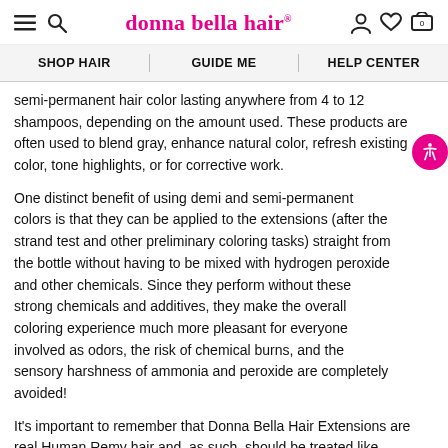donna bella hair
semi-permanent hair color lasting anywhere from 4 to 12 shampoos, depending on the amount used. These products are often used to blend gray, enhance natural color, refresh existing color, tone highlights, or for corrective work.
One distinct benefit of using demi and semi-permanent colors is that they can be applied to the extensions (after the strand test and other preliminary coloring tasks) straight from the bottle without having to be mixed with hydrogen peroxide and other chemicals. Since they perform without these strong chemicals and additives, they make the overall coloring experience much more pleasant for everyone involved as odors, the risk of chemical burns, and the sensory harshness of ammonia and peroxide are completely avoided!
It's important to remember that Donna Bella Hair Extensions are real Human Remy hair and, as such, should be treated like